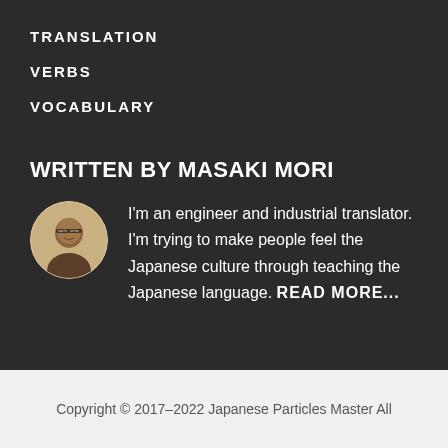TRANSLATION
VERBS
VOCABULARY
WRITTEN BY MASAKI MORI
[Figure (photo): Circular avatar photo of Masaki Mori, a man wearing glasses]
I'm an engineer and industrial translator. I'm trying to make people feel the Japanese culture through teaching the Japanese language. READ MORE...
Copyright © 2017–2022 Japanese Particles Master All